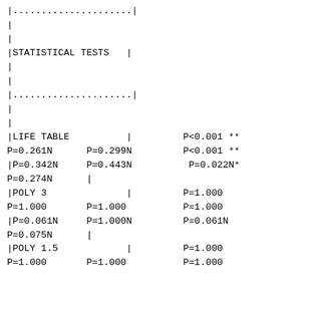| |.....................| |  |  |
| | |  |  |
| | |  |  |
| |STATISTICAL TESTS   | |  |  |
| | |  |  |
| | |  |  |
| |.....................| |  |  |
| | |  |  |
| | |  |  |
| |LIFE TABLE          | | P<0.001 ** |
| P=0.261N | P=0.299N | P<0.001 ** |
| |P=0.342N | P=0.443N | P=0.022N* |
| P=0.274N | | |  |
| |POLY 3              | | P=1.000 |
| P=1.000 | P=1.000 | P=1.000 |
| |P=0.061N | P=1.000N | P=0.061N |
| P=0.075N | | |  |
| |POLY 1.5            | | P=1.000 |
| P=1.000 | P=1.000 | P=1.000 |